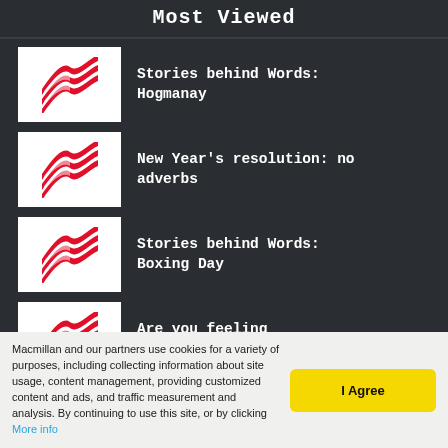Most Viewed
Stories behind Words: Hogmanay
New Year's resolution: no adverbs
Stories behind Words: Boxing Day
Are you feeling Christmassy?
Macmillan and our partners use cookies for a variety of purposes, including collecting information about site usage, content management, providing customized content and ads, and traffic measurement and analysis. By continuing to use this site, or by clicking More info